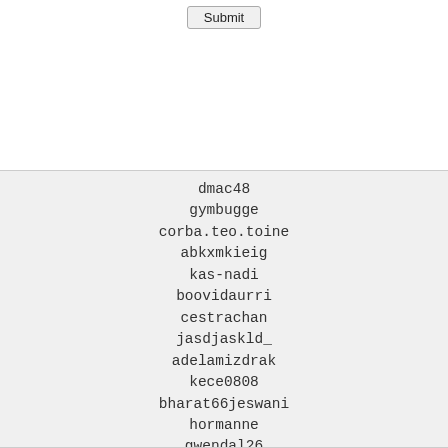[Figure (screenshot): A Submit button rendered as a browser UI element]
dmac48
gymbugge
corba.teo.toine
abkxmkieig
kas-nadi
boovidaurri
cestrachan
jasdjaskld_
adelamizdrak
kece0808
bharat66jeswani
hormanne
gwendal26
carolina.astudillo.05
dixieland79